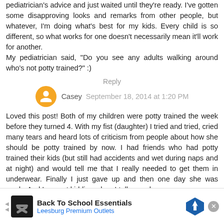pediatrician's advice and just waited until they're ready. I've gotten some disapproving looks and remarks from other people, but whatever, I'm doing what's best for my kids. Every child is so different, so what works for one doesn't necessarily mean it'll work for another. My pediatrician said, "Do you see any adults walking around who's not potty trained?" :)
Reply
Casey  September 18, 2014 at 1:20 PM
Loved this post! Both of my children were potty trained the week before they turned 4. With my fist (daughter) I tried and tried, cried many tears and heard lots of criticism from people about how she should be potty trained by now. I had friends who had potty trained their kids (but still had accidents and wet during naps and at night) and would tell me that I really needed to get them in underwear. Finally I just gave up and then one day she was ready. And I am not kidding when I tell you, she...
[Figure (other): Advertisement banner: Back To School Essentials - Leesburg Premium Outlets]